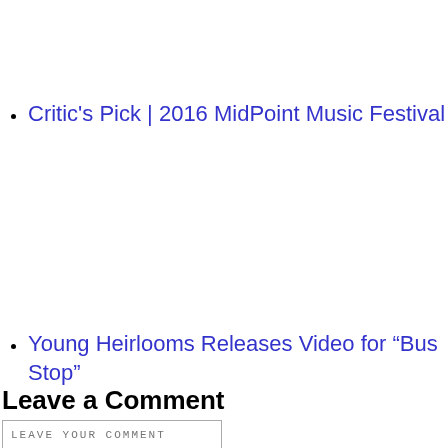Critic's Pick | 2016 MidPoint Music Festival
Young Heirlooms Releases Video for “Bus Stop”
Leave a Comment
LEAVE YOUR COMMENT